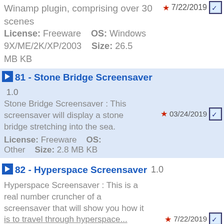Winamp plugin, comprising over 30 scenes
License: Freeware   OS: Windows 9X/ME/2K/XP/2003   Size: 26.5 MB KB
81 - Stone Bridge Screensaver  1.0
Stone Bridge Screensaver : This screensaver will display a stone bridge stretching into the sea.
License: Freeware   OS: Other   Size: 2.8 MB KB
82 - Hyperspace Screensaver  1.0
Hyperspace Screensaver : This is a real number cruncher of a screensaver that will show you how it is to travel through hyperspace...